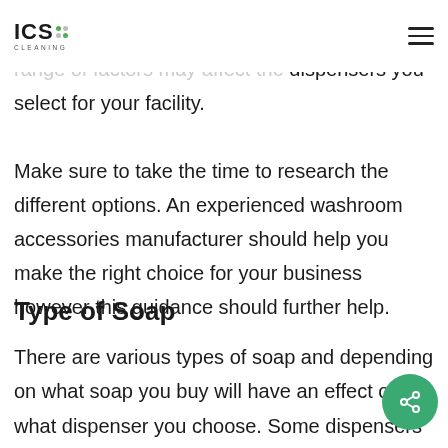ICS Cleaning
dispensers you select for your facility. Make sure to take the time to research the different options. An experienced washroom accessories manufacturer should help you make the right choice for your business however this guidance should further help.
Type of Soap
There are various types of soap and depending on what soap you buy will have an effect on what dispenser you choose. Some dispensers are suitable for